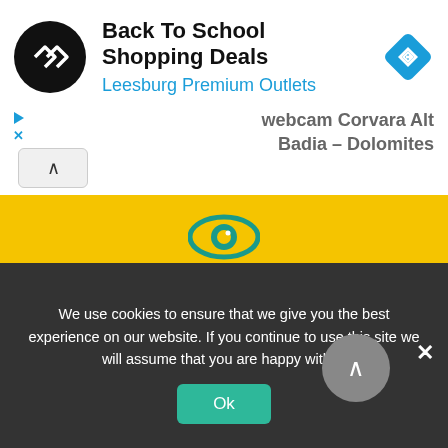[Figure (screenshot): Advertisement banner for Back To School Shopping Deals at Leesburg Premium Outlets with black circular logo and blue diamond navigation icon]
Back To School Shopping Deals
Leesburg Premium Outlets
webcam Corvara Alt Badia – Dolomites
[Figure (illustration): Yellow background section with teal eye icon, bold teal WATCH heading, and teal text 'Sit back and enjoy the view']
WATCH
Sit back and enjoy the view
We use cookies to ensure that we give you the best experience on our website. If you continue to use this site we will assume that you are happy with it.